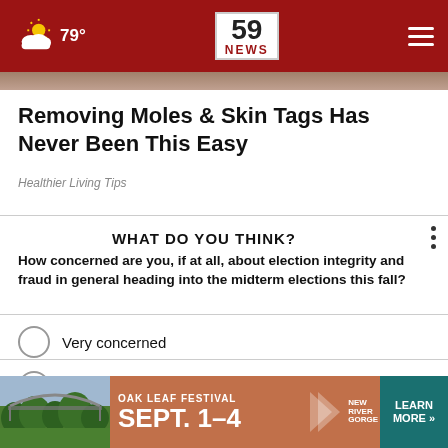59 NEWS — 79°
Removing Moles & Skin Tags Has Never Been This Easy
Healthier Living Tips
WHAT DO YOU THINK?
How concerned are you, if at all, about election integrity and fraud in general heading into the midterm elections this fall?
Very concerned
Somewhat concerned
Not at all concerned
[Figure (photo): Oak Leaf Festival advertisement banner: Sept. 1–4, New River Gorge, Learn More]
OAK LEAF FESTIVAL SEPT. 1–4 NEW RIVER GORGE LEARN MORE